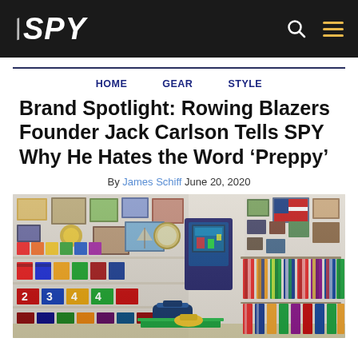SPY
HOME   GEAR   STYLE
Brand Spotlight: Rowing Blazers Founder Jack Carlson Tells SPY Why He Hates the Word ‘Preppy’
By James Schiff June 20, 2020
[Figure (photo): Interior of the Rowing Blazers store showing shelves of colorful striped blazers and jerseys on the left, an arcade game in the center, and hanging garments on racks on the right wall, decorated with framed pictures and pennants.]